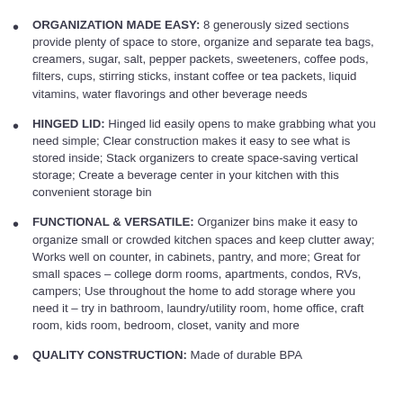ORGANIZATION MADE EASY: 8 generously sized sections provide plenty of space to store, organize and separate tea bags, creamers, sugar, salt, pepper packets, sweeteners, coffee pods, filters, cups, stirring sticks, instant coffee or tea packets, liquid vitamins, water flavorings and other beverage needs
HINGED LID: Hinged lid easily opens to make grabbing what you need simple; Clear construction makes it easy to see what is stored inside; Stack organizers to create space-saving vertical storage; Create a beverage center in your kitchen with this convenient storage bin
FUNCTIONAL & VERSATILE: Organizer bins make it easy to organize small or crowded kitchen spaces and keep clutter away; Works well on counter, in cabinets, pantry, and more; Great for small spaces – college dorm rooms, apartments, condos, RVs, campers; Use throughout the home to add storage where you need it – try in bathroom, laundry/utility room, home office, craft room, kids room, bedroom, closet, vanity and more
QUALITY CONSTRUCTION: Made of durable BPA